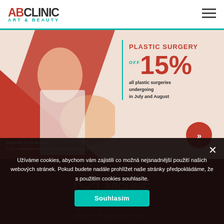ABClinic Art & Beauty
[Figure (photo): Promotional banner for ABClinic Art & Beauty showing a woman in a white top with red diagonal design elements. Text reads: PLASTIC SURGERY OFF 15% all plastic surgeries undergoing in July and August. ABClinic Art & Beauty Clinic of aesthetic medicine and plastic surgery. Red circular button with double chevron arrows.]
Subscribe to our Newsletter
[Figure (logo): ABClinic logo watermark with envelope icon in dark section]
Užíváme cookies, abychom vám zajistili co možná nejsnadnější použití našich webových stránek. Pokud budete nadále prohlížet naše stránky předpokládáme, že s použitím cookies souhlasíte.
Souhlasím
Book Appointment